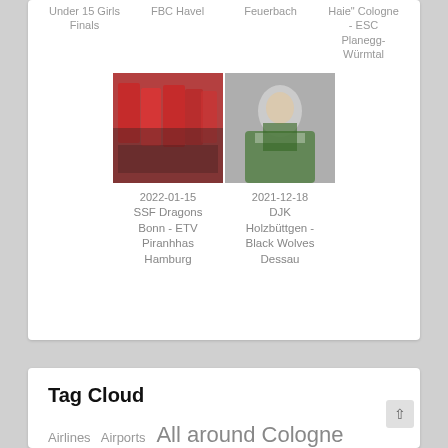Under 15 Girls Finals
FBC Havel
Feuerbach
Haie" Cologne - ESC Planegg-Würmtal
[Figure (photo): Team photo - SSF Dragons Bonn vs ETV Piranhhas Hamburg, 2022-01-15. Players in red uniforms celebrating.]
2022-01-15
SSF Dragons Bonn - ETV Piranhhas Hamburg
[Figure (photo): Player photo - DJK Holzbüttgen vs Black Wolves Dessau, 2021-12-18. Player in green and white uniform.]
2021-12-18
DJK Holzbüttgen - Black Wolves Dessau
Tag Cloud
Airlines  Airports  All around Cologne  Austria  Berlin
Canada  Country